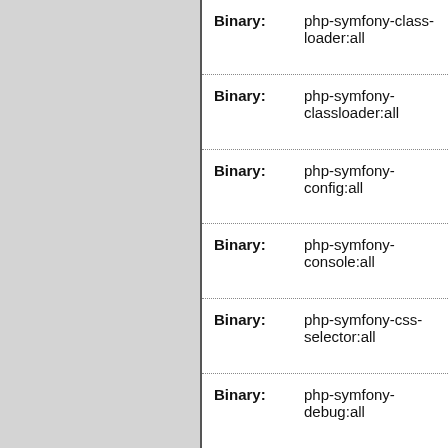| Label | Value |
| --- | --- |
| Binary: | php-symfony-class-loader:all |
| Binary: | php-symfony-classloader:all |
| Binary: | php-symfony-config:all |
| Binary: | php-symfony-console:all |
| Binary: | php-symfony-css-selector:all |
| Binary: | php-symfony-debug:all |